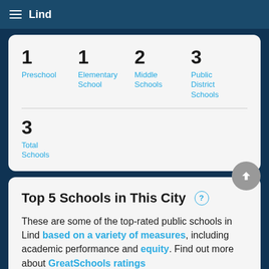Lind
| 1 | Preschool | 1 | Elementary School | 2 | Middle Schools | 3 | Public District Schools |
| 3 | Total Schools |
Top 5 Schools in This City
These are some of the top-rated public schools in Lind based on a variety of measures, including academic performance and equity. Find out more about GreatSchools ratings